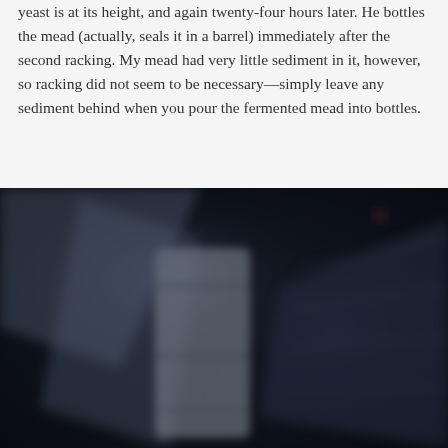yeast is at its height, and again twenty-four hours later. He bottles the mead (actually, seals it in a barrel) immediately after the second racking. My mead had very little sediment in it, however, so racking did not seem to be necessary—simply leave any sediment behind when you pour the fermented mead into bottles.
[Figure (photo): A dark, blurry photograph showing what appears to be a wooden barrel or structure with slats visible, set against a very dark background. The image is heavily underexposed and out of focus.]